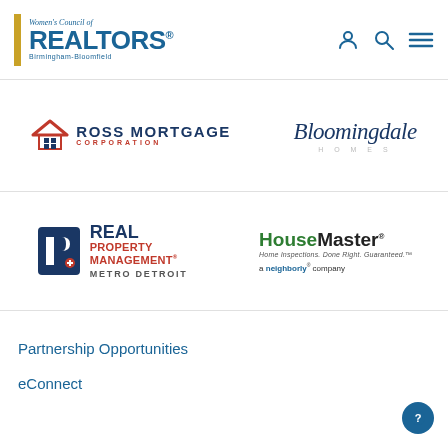[Figure (logo): Women's Council of Realtors Birmingham-Bloomfield logo with gold bar, blue REALTORS text and italic script]
[Figure (logo): Navigation icons: person/user icon, search/magnifier icon, hamburger menu icon]
[Figure (logo): Ross Mortgage Corporation logo with red roof/house icon and blue/red text]
[Figure (logo): Bloomingdale Homes logo in blue cursive script with gray HOMES text]
[Figure (logo): Real Property Management Metro Detroit logo with blue R icon and red/blue text]
[Figure (logo): HouseMaster Home Inspections logo in green and black with neighborly company tagline]
Partnership Opportunities
eConnect